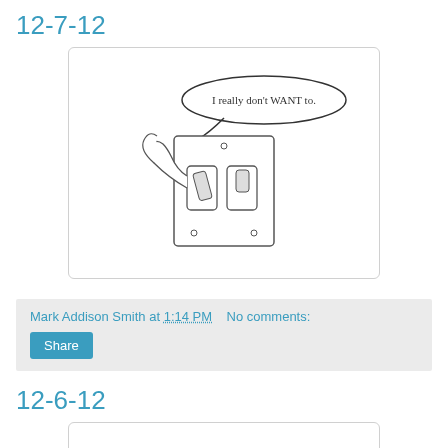12-7-12
[Figure (illustration): Hand-drawn sketch of a light switch plate with a speech bubble saying 'I really don't WANT to.' A finger or hand appears to be reluctantly pressing the switch.]
Mark Addison Smith at 1:14 PM   No comments:
Share
12-6-12